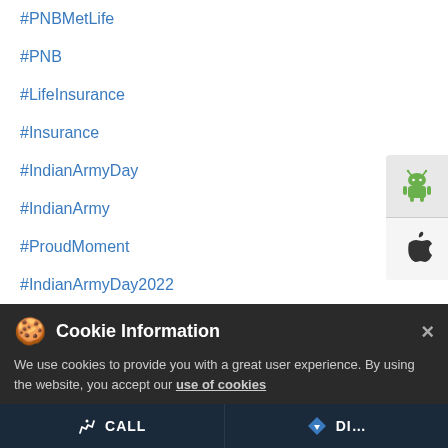#PNBMetLife
#PNB
#LifeInsurance
#Insurance
#IndianArmyDay
#IndianArmy
#ProudMoment
#IndianArmyDay2022
Posted On: 15 Jan 2022 9:00 AM
[Figure (screenshot): Social share icons: Facebook, Twitter, WhatsApp]
[Figure (screenshot): Android and Apple app download side buttons]
Cookie Information
We use cookies to provide you with a great user experience. By using the website, you accept our use of cookies
I ACCEPT
Let's milkar celebrate P V Sindhu on becoming the first Indian woman to win two individual medals at the Olympics. Share your comments below. #MilkarLifeAageBadhaein #Olympics #2020 #PVSindhu #Indian #Proud #PNBMetLife #Insurance #Life...
CALL   DIRECTIONS